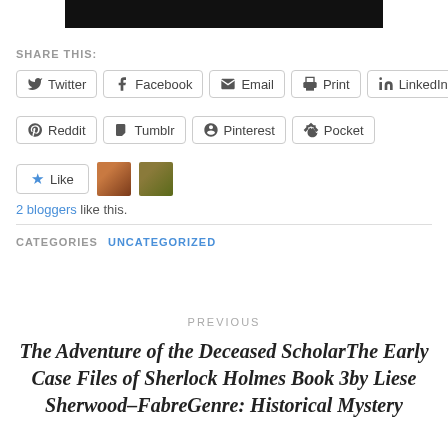[Figure (screenshot): Black banner image at top of page]
SHARE THIS:
Twitter  Facebook  Email  Print  LinkedIn  Reddit  Tumblr  Pinterest  Pocket
Like  2 bloggers like this.
CATEGORIES  UNCATEGORIZED
PREVIOUS
The Adventure of the Deceased ScholarThe Early Case Files of Sherlock Holmes Book 3by Liese Sherwood–FabreGenre: Historical Mystery